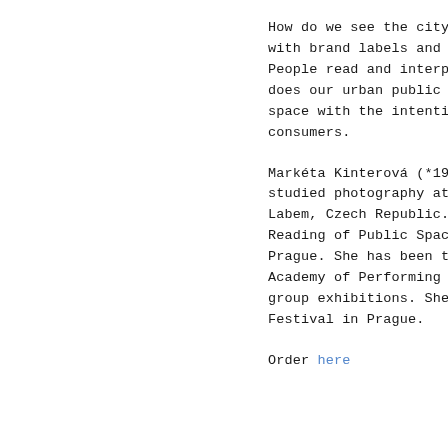How do we see the cityscape covered with brand labels and messages? People read and interpret these signs. does our urban public space become a space with the intention to convert consumers.
Markéta Kinterová (*1981) fo... studied photography at the Fa... Labem, Czech Republic. The ... Reading of Public Space, whi... Prague. She has been the he... Academy of Performing Arts i... group exhibitions. She is the ... Festival in Prague.
Order here